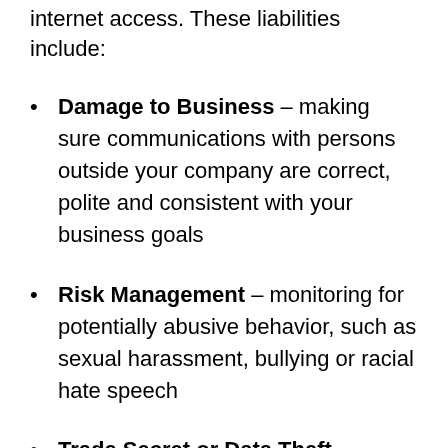internet access. These liabilities include:
Damage to Business – making sure communications with persons outside your company are correct, polite and consistent with your business goals
Risk Management – monitoring for potentially abusive behavior, such as sexual harassment, bullying or racial hate speech
Trade Secret or Data Theft – keeping watch for the loss of important  company secrets and